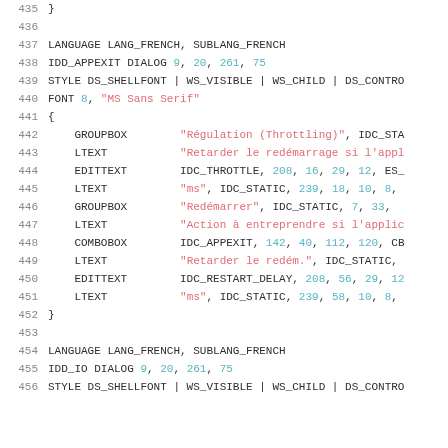[Figure (screenshot): Source code listing showing Windows resource file (.rc) with French language dialog definitions, lines 435-456, with syntax highlighting: line numbers in gray, strings in pink/red, numbers in teal/cyan, keywords in dark.]